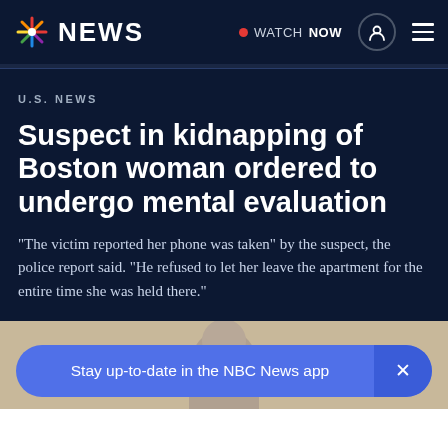NBC NEWS — WATCH NOW
U.S. NEWS
Suspect in kidnapping of Boston woman ordered to undergo mental evaluation
"The victim reported her phone was taken" by the suspect, the police report said. "He refused to let her leave the apartment for the entire time she was held there."
[Figure (photo): Bottom portion shows a person's head/face partially visible at bottom of page]
Stay up-to-date in the NBC News app